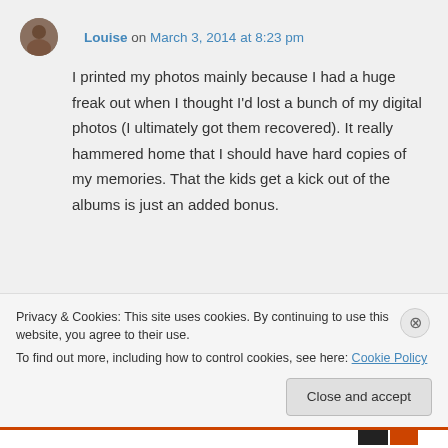Louise on March 3, 2014 at 8:23 pm
I printed my photos mainly because I had a huge freak out when I thought I'd lost a bunch of my digital photos (I ultimately got them recovered). It really hammered home that I should have hard copies of my memories. That the kids get a kick out of the albums is just an added bonus.
Privacy & Cookies: This site uses cookies. By continuing to use this website, you agree to their use. To find out more, including how to control cookies, see here: Cookie Policy